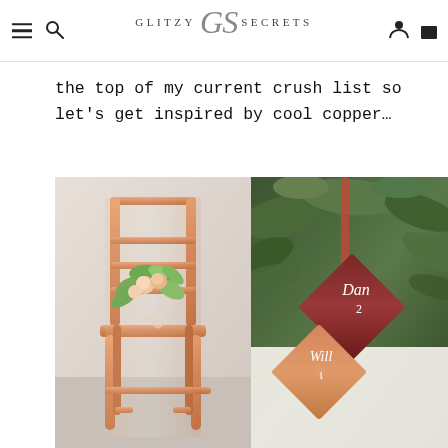GLITZY GS SECRETS
the top of my current crush list so let’s get inspired by cool copper…
[Figure (photo): Left: A shiny copper/rose gold metal cafe chair with a floral bouquet of eucalyptus and peach flowers resting on the seat, photographed against a light grey/white background. Right: Close-up of copper and burgundy diamond-shaped place card holders hanging from copper/red ribbon among green eucalyptus leaves, with white calligraphy writing showing names 'Dan 2' and 'Will 1'.]